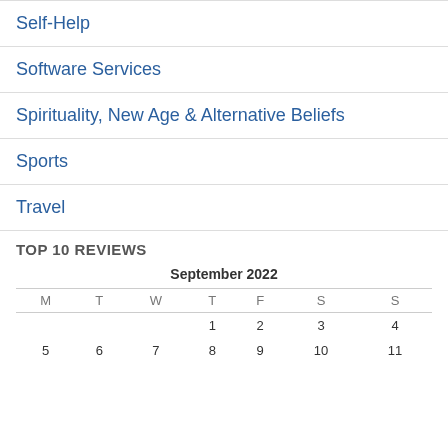Self-Help
Software Services
Spirituality, New Age & Alternative Beliefs
Sports
Travel
TOP 10 REVIEWS
| M | T | W | T | F | S | S |
| --- | --- | --- | --- | --- | --- | --- |
|  |  |  | 1 | 2 | 3 | 4 |
| 5 | 6 | 7 | 8 | 9 | 10 | 11 |